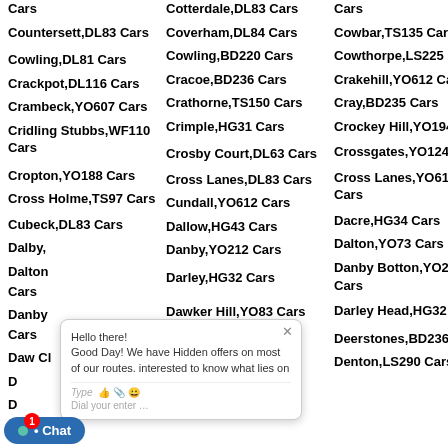Cotterdale,DL83 Cars
Cars (continued col 4)
Cars (col 3)
Cu (col 4)
Countersett,DL83 Cars
Coverham,DL84 Cars
Cowbar,TS135 Cars
Co
Cowling,DL81 Cars
Cowling,BD220 Cars
Cowthorpe,LS225 Cars
Co
Crackpot,DL116 Cars
Cracoe,BD236 Cars
Crakehill,YO612 Cars
Cr
Crambeck,YO607 Cars
Crathorne,TS150 Cars
Cray,BD235 Cars
Cr
Cridling Stubbs,WF110 Cars
Crimple,HG31 Cars
Crockey Hill,YO194 Cars
Cr
Cropton,YO188 Cars
Crosby Court,DL63 Cars
Crossgates,YO124 Cars
Cr
Cross Holme,TS97 Cars
Cross Lanes,DL83 Cars
Cross Lanes,YO611 Cars
Cr
Cubeck,DL83 Cars
Cundall,YO612 Cars
Dacre,HG34 Cars
Da
Dalby,...
Dallow,HG43 Cars
Dalton,YO73 Cars
Da
Dalton... Cars
Danby,YO212 Cars
Danby Botton,YO212 Cars
Da
Danby...Cars
Darley,HG32 Cars
Darley Head,HG32 Cars
Da
Daw Cl...
Dawker Hill,YO83 Cars
Deerstones,BD236 Cars
De
D...O196 Cars
Delves,YO225 Cars
Denton,LS290 Cars
Di
D...TS195
DL116